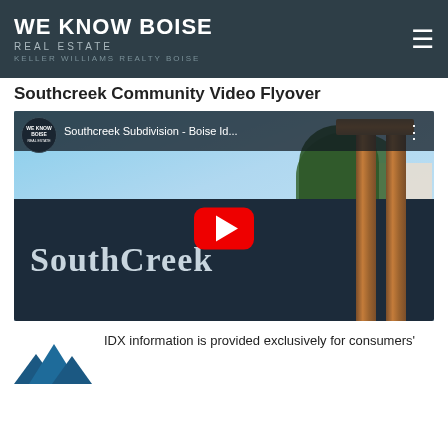WE KNOW BOISE
REAL ESTATE
KELLER WILLIAMS REALTY BOISE
Southcreek Community Video Flyover
[Figure (screenshot): YouTube video thumbnail for 'Southcreek Subdivision - Boise Id...' showing a SouthCreek community sign with wooden frame posts, trees, and house in background. YouTube play button overlay visible.]
[Figure (logo): Mountain range logo icon in dark teal/blue color]
IDX information is provided exclusively for consumers'